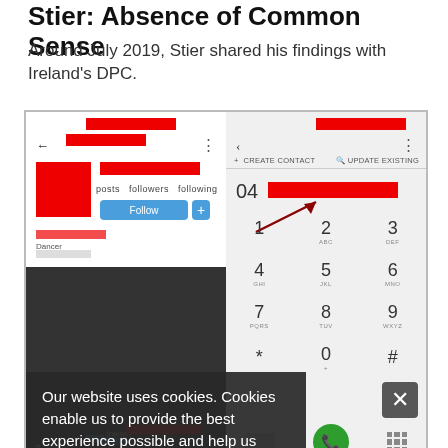Stier: Absence of Common Sense
Around July 2019, Stier shared his findings with Ireland's DPC.
[Figure (screenshot): Two smartphone screenshots side by side: left shows an Instagram profile page with redacted personal information and a Follow button; right shows a phone dialer screen with a number partially entered (04...) and redacted digits, along with a numeric keypad, overlaid by a cookie consent banner reading 'Our website uses cookies. Cookies enable us to provide the best experience possible and help us understand how visitors use our website. By browsing healthcareinfosecurity.com, you agree to our use of cookies.' with a close (X) button.]
Instagram requires either a phone number or email address to be listed in a user's profile.
The issue slowly gained steam throughout 2019, with more